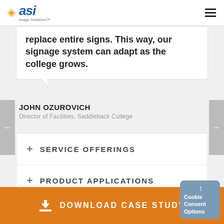ASI — logo and navigation
replace entire signs. This way, our signage system can adapt as the college grows.
JOHN OZUROVICH
Director of Facilities, Saddleback College
+ SERVICE OFFERINGS
+ PRODUCT APPLICATIONS
DOWNLOAD CASE STUDY